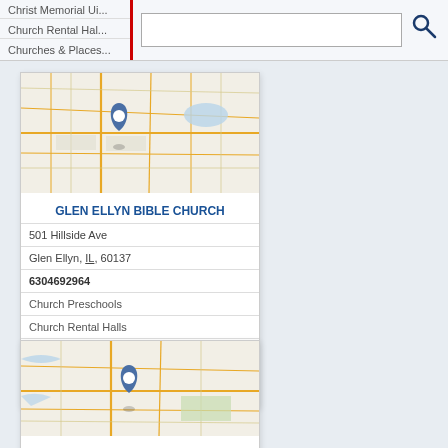Christ Memorial Ui | Church Rental Hal | Churches & Places
[Figure (map): Map showing location of Glen Ellyn Bible Church with a blue map pin marker]
GLEN ELLYN BIBLE CHURCH
501 Hillside Ave
Glen Ellyn, IL, 60137
6304692964
Church Preschools
Church Rental Halls
Churches & Places Of Worship
Churches For Rent
Churches For Sale
[Figure (map): Map showing location of Glen Ellyn Evangelical church with a blue map pin marker]
GLEN ELLYN EVANGELICAL